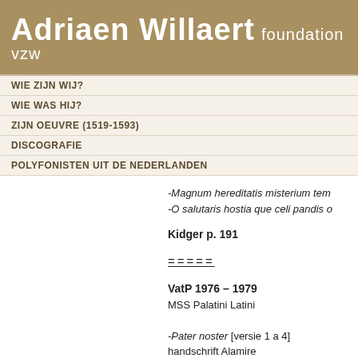Adriaen Willaert foundation vzw
WIE ZIJN WIJ?
WIE WAS HIJ?
ZIJN OEUVRE (1519-1593)
DISCOGRAFIE
POLYFONISTEN UIT DE NEDERLANDEN
-Magnum hereditatis misterium tem…
-O salutaris hostia que celi pandis o…
Kidger p. 191
=====
VatP 1976 – 1979
MSS Palatini Latini
-Pater noster [versie 1 a 4]
handschrift Alamire
4 stemboeken